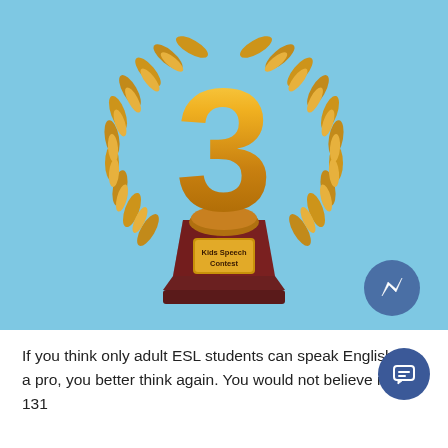[Figure (illustration): A gold number 3 trophy award on a dark brown pedestal with a gold plaque reading 'Kids Speech Contest', surrounded by a golden laurel wreath, on a light blue background. A Facebook Messenger icon and a chat icon are overlaid in the lower right.]
If you think only adult ESL students can speak English like a pro, you better think again. You would not believe it, but 131